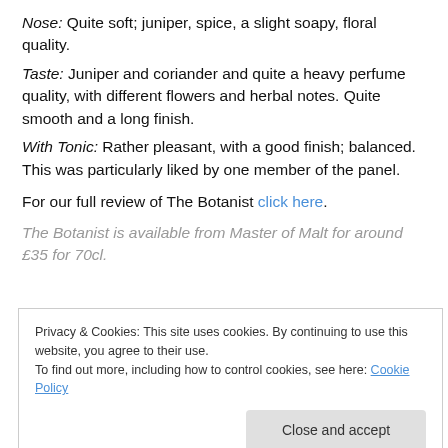Nose: Quite soft; juniper, spice, a slight soapy, floral quality.
Taste: Juniper and coriander and quite a heavy perfume quality, with different flowers and herbal notes. Quite smooth and a long finish.
With Tonic: Rather pleasant, with a good finish; balanced. This was particularly liked by one member of the panel.
For our full review of The Botanist click here.
The Botanist is available from Master of Malt for around £35 for 70cl.
Privacy & Cookies: This site uses cookies. By continuing to use this website, you agree to their use. To find out more, including how to control cookies, see here: Cookie Policy